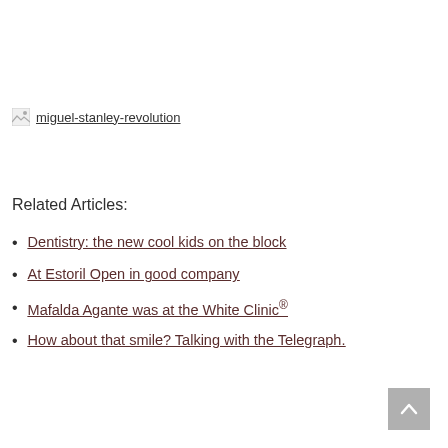[Figure (other): Broken image placeholder with link text 'miguel-stanley-revolution']
Related Articles:
Dentistry: the new cool kids on the block
At Estoril Open in good company
Mafalda Agante was at the White Clinic®
How about that smile? Talking with the Telegraph.